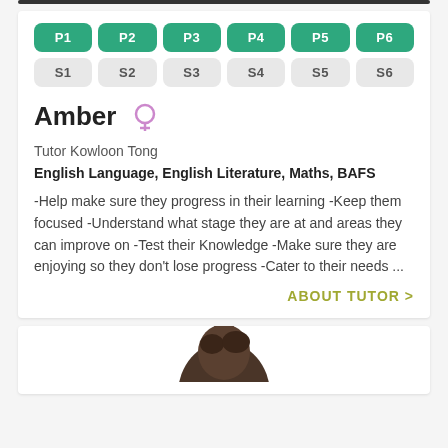P1 P2 P3 P4 P5 P6
S1 S2 S3 S4 S5 S6
Amber
Tutor Kowloon Tong
English Language, English Literature, Maths, BAFS
-Help make sure they progress in their learning -Keep them focused -Understand what stage they are at and areas they can improve on -Test their Knowledge -Make sure they are enjoying so they don't lose progress -Cater to their needs ...
ABOUT TUTOR >
[Figure (photo): Partial photo of a tutor (dark hair) at the bottom of the page]